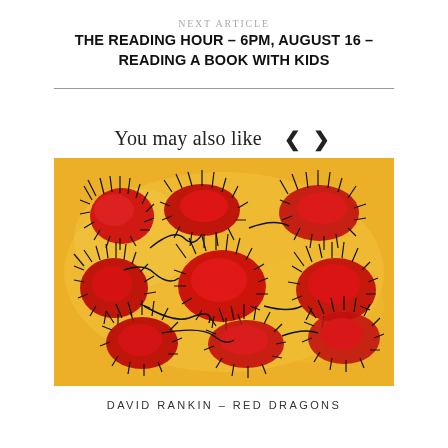NEXT ARTICLE
THE READING HOUR – 6PM, AUGUST 16 – READING A BOOK WITH KIDS
You may also like
[Figure (illustration): Abstract painting with bold red organic shapes on a yellow/golden background, with dark black outlines and spiky/hairy details. Attributed to David Rankin – Red Dragons.]
DAVID RANKIN – RED DRAGONS